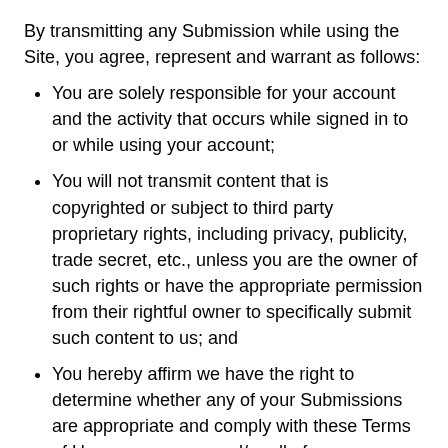By transmitting any Submission while using the Site, you agree, represent and warrant as follows:
You are solely responsible for your account and the activity that occurs while signed in to or while using your account;
You will not transmit content that is copyrighted or subject to third party proprietary rights, including privacy, publicity, trade secret, etc., unless you are the owner of such rights or have the appropriate permission from their rightful owner to specifically submit such content to us; and
You hereby affirm we have the right to determine whether any of your Submissions are appropriate and comply with these Terms of Use, remove any and/or all of your communications, and terminate your account with or without prior notice.
You will not send unsolicited bulk communications, interfere or attempt to interfere with the proper...